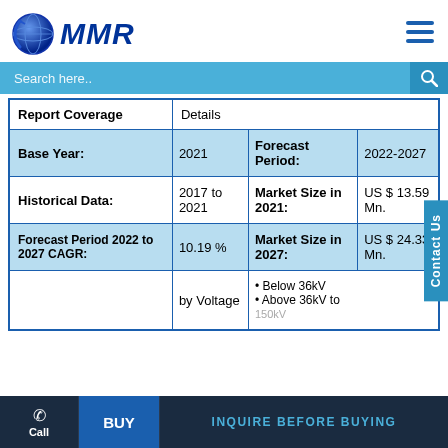MMR logo and navigation header
| Report Coverage | Details |
| --- | --- |
| Base Year: | 2021 | Forecast Period: | 2022-2027 |
| Historical Data: | 2017 to 2021 | Market Size in 2021: | US $ 13.59 Mn. |
| Forecast Period 2022 to 2027 CAGR: | 10.19 % | Market Size in 2027: | US $ 24.33 Mn. |
|  | by Voltage | • Below 36kV • Above 36kV to 150kV |  |
Call | BUY | INQUIRE BEFORE BUYING